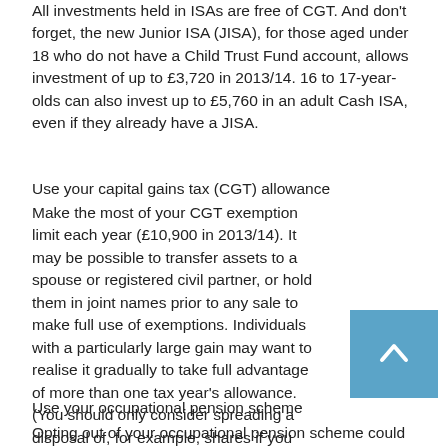All investments held in ISAs are free of CGT. And don't forget, the new Junior ISA (JISA), for those aged under 18 who do not have a Child Trust Fund account, allows investment of up to £3,720 in 2013/14. 16 to 17-year-olds can also invest up to £5,760 in an adult Cash ISA, even if they already have a JISA.
Use your capital gains tax (CGT) allowance
Make the most of your CGT exemption limit each year (£10,900 in 2013/14). It may be possible to transfer assets to a spouse or registered civil partner, or hold them in joint names prior to any sale to make full use of exemptions. Individuals with a particularly large gain may want to realise it gradually to take full advantage of more than one tax year's allowance. (You should only consider spreading a disposal of, for example, shares if you will not be putting your gain at risk in the meantime.)
Use your occupational pension scheme
Opting out of your occupational pension scheme could mean